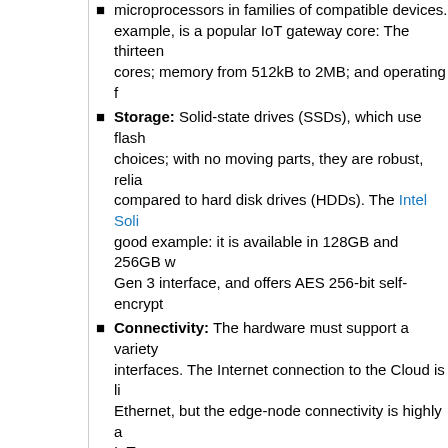...Trusted Platform Module (TPM) specifications manufacturing microprocessors in families of compatible devices. ...example, is a popular IoT gateway core: The thirteen cores; memory from 512kB to 2MB; and operating f...
Storage: Solid-state drives (SSDs), which use flash choices; with no moving parts, they are robust, relia... compared to hard disk drives (HDDs). The Intel Soli... good example: it is available in 128GB and 256GB v... Gen 3 interface, and offers AES 256-bit self-encrypt...
Connectivity: The hardware must support a variety interfaces. The Internet connection to the Cloud is li... Ethernet, but the edge-node connectivity is highly a... IoT use cases.
Environmental Considerations: Selection of the h... environment into account. Will the IoT gateway devi... factory floor, or exposed to the elements in some wa... power?
Software Considerations
The software for an IoT gateway must carry out severa... are:
The OS manages processor, memory, and other res... with a level of abstraction from the underlying hardw... designed for IoT gateways, including proprietary pro... Enterprise or Windows IoT Core, and open-source...